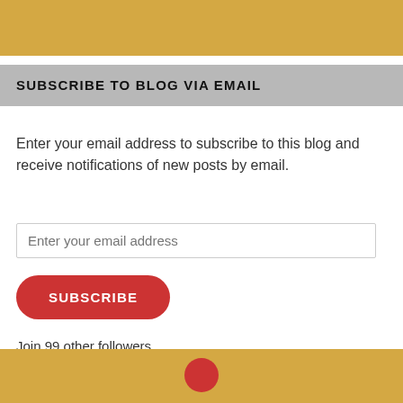SUBSCRIBE TO BLOG VIA EMAIL
Enter your email address to subscribe to this blog and receive notifications of new posts by email.
Enter your email address
SUBSCRIBE
Join 99 other followers